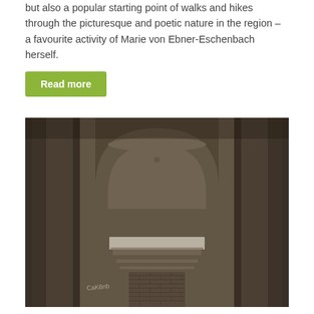but also a popular starting point of walks and hikes through the picturesque and poetic nature in the region – a favourite activity of Marie von Ebner-Eschenbach herself.
Read more
[Figure (photo): A stone architectural niche or alcove with an arched top and a pedestal or plinth structure inside, made of brick. The stone walls appear weathered and dark. There is graffiti visible on the lower left of the niche.]